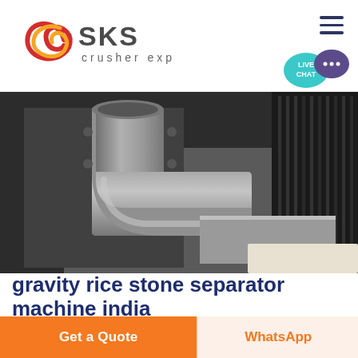SKS crusher expert
[Figure (photo): Close-up photo of industrial machinery showing a large curved metal pipe/elbow fitting attached to a flat metal surface, part of a stone or grain separator machine. Dark metallic tones with industrial equipment in background.]
gravity rice stone separator machine india
Add to Compare Gravity Placer Gold Sand Separator Machine Stone Concrete sand separator machine Chat Online rice sto...